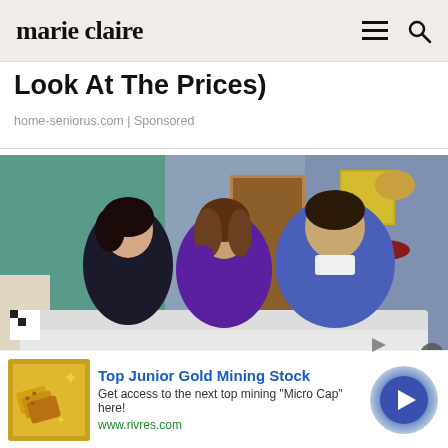marie claire
Look At The Prices)
home-seniorus.com | Sponsored
[Figure (photo): Three people (two women and one man) sitting on a white sofa watching TV in a living room set. The woman on the left wears black, the woman in the middle wears purple, and the man on the right wears a blue long-sleeve shirt. Background shows shelves with items, a door, and decorative wall art.]
[Figure (photo): Advertisement banner showing gold/yellow crackers or biscuits on the left side.]
Top Junior Gold Mining Stock
Get access to the next top mining "Micro Cap" here!
www.rivres.com